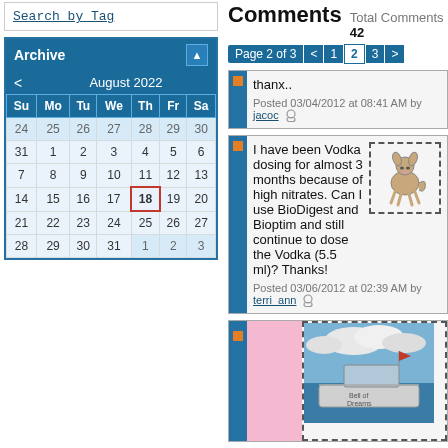Search by Tag
| Su | Mo | Tu | We | Th | Fr | Sa |
| --- | --- | --- | --- | --- | --- | --- |
| 24 | 25 | 26 | 27 | 28 | 29 | 30 |
| 31 | 1 | 2 | 3 | 4 | 5 | 6 |
| 7 | 8 | 9 | 10 | 11 | 12 | 13 |
| 14 | 15 | 16 | 17 | 18 | 19 | 20 |
| 21 | 22 | 23 | 24 | 25 | 26 | 27 |
| 28 | 29 | 30 | 31 | 1 | 2 | 3 |
Comments   Total Comments 42
Page 2 of 3  < 1 2 3 >
thanx..
Posted 03/04/2012 at 08:41 AM by jacoc
I have been Vodka dosing for almost 3 months because of high nitrates. Can I use BioDigest and Bioptim and still continue to dose the Vodka (5.5 ml)? Thanks!
Posted 03/06/2012 at 02:39 AM by terri_ann
[Figure (photo): Boat on water with cloudy sky, third comment area]